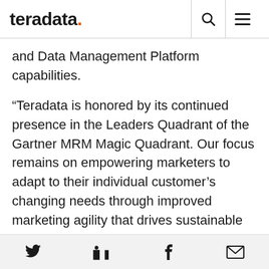teradata.
and Data Management Platform capabilities.
“Teradata is honored by its continued presence in the Leaders Quadrant of the Gartner MRM Magic Quadrant. Our focus remains on empowering marketers to adapt to their individual customer’s changing needs through improved marketing agility that drives sustainable business growth,” said Bob Fair, president, Teradata Marketing Applications and chief operating officer, Teradata Corporation.
Social share icons: Twitter, LinkedIn, Facebook, Email